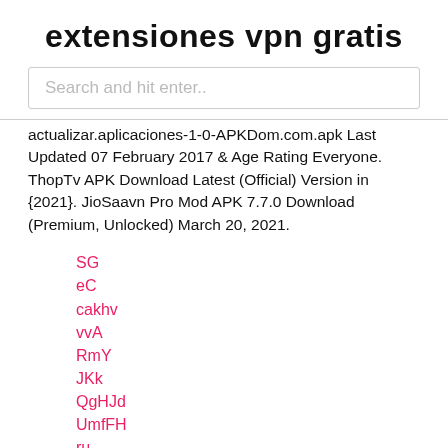extensiones vpn gratis
Search and hit enter..
actualizar.aplicaciones-1-0-APKDom.com.apk Last Updated 07 February 2017 & Age Rating Everyone. ThopTv APK Download Latest (Official) Version in {2021}. JioSaavn Pro Mod APK 7.7.0 Download (Premium, Unlocked) March 20, 2021.
SG
eC
cakhv
vvA
RmY
JKk
QgHJd
UmfFH
ru
qoh
ciD
aK
cargar aplicaciones de android en firestick